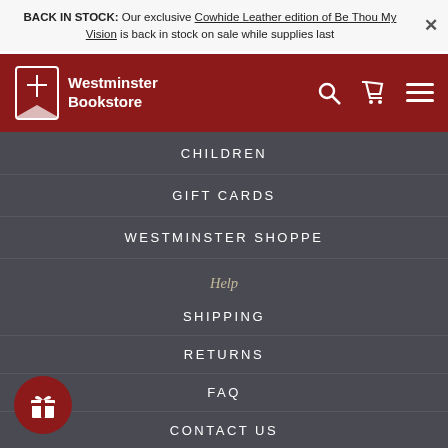BACK IN STOCK: Our exclusive Cowhide Leather edition of Be Thou My Vision is back in stock on sale while supplies last
[Figure (logo): Westminster Bookstore logo with cross/bookmark icon on dark red header bar with search, cart, and menu icons]
CHILDREN
GIFT CARDS
WESTMINSTER SHOPPE
Help
SHIPPING
RETURNS
FAQ
CONTACT US
ACCOUNT
About Us
WESTMINSTER BOOKSTORE
WESTMINSTER SEMINARY